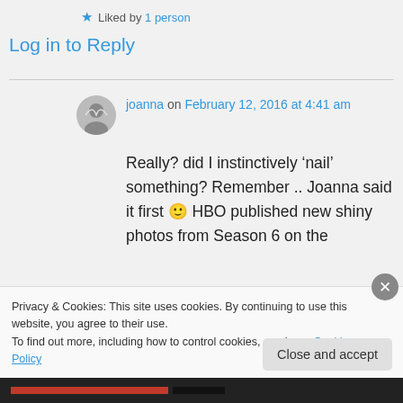★ Liked by 1 person
Log in to Reply
joanna on February 12, 2016 at 4:41 am
Really? did I instinctively 'nail' something? Remember .. Joanna said it first 🙂 HBO published new shiny photos from Season 6 on the
Privacy & Cookies: This site uses cookies. By continuing to use this website, you agree to their use.
To find out more, including how to control cookies, see here: Cookie Policy
Close and accept